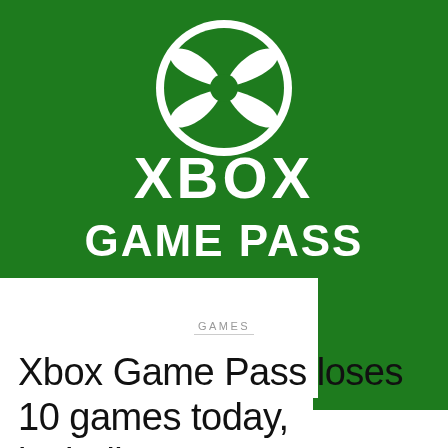[Figure (logo): Xbox Game Pass logo on green background — white Xbox sphere logo (circle with X shape) above white text 'XBOX' and 'GAME PASS' in bold sans-serif]
GAMES
Xbox Game Pass loses 10 games today, including one…